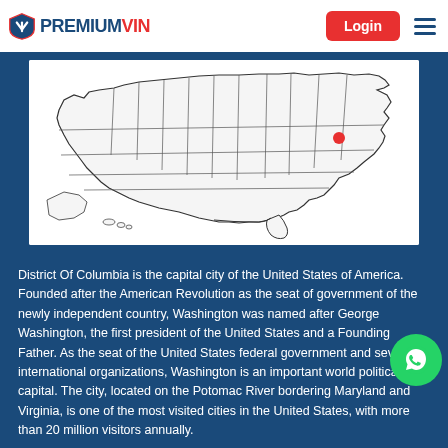PREMIUMVIN — Login
[Figure (map): Map of the United States with Washington D.C. highlighted in red on the east coast]
District Of Columbia is the capital city of the United States of America. Founded after the American Revolution as the seat of government of the newly independent country, Washington was named after George Washington, the first president of the United States and a Founding Father. As the seat of the United States federal government and several international organizations, Washington is an important world political capital. The city, located on the Potomac River bordering Maryland and Virginia, is one of the most visited cities in the United States, with more than 20 million visitors annually.